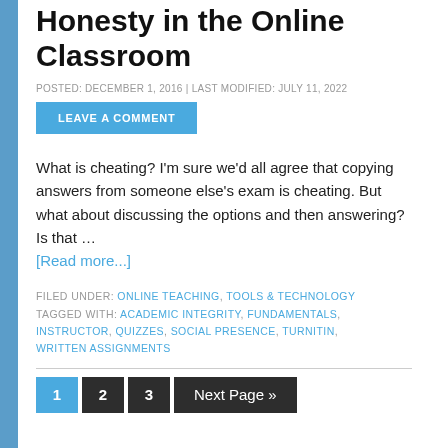Honesty in the Online Classroom
POSTED: DECEMBER 1, 2016 | LAST MODIFIED: JULY 11, 2022
LEAVE A COMMENT
What is cheating? I'm sure we'd all agree that copying answers from someone else's exam is cheating. But what about discussing the options and then answering? Is that …
[Read more...]
FILED UNDER: ONLINE TEACHING, TOOLS & TECHNOLOGY
TAGGED WITH: ACADEMIC INTEGRITY, FUNDAMENTALS, INSTRUCTOR, QUIZZES, SOCIAL PRESENCE, TURNITIN, WRITTEN ASSIGNMENTS
1  2  3  Next Page »